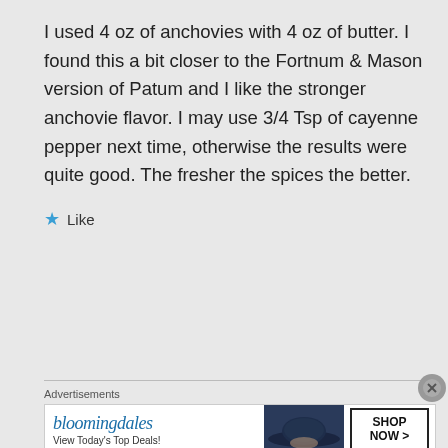I used 4 oz of anchovies with 4 oz of butter. I found this a bit closer to the Fortnum & Mason version of Patum and I like the stronger anchovie flavor. I may use 3/4 Tsp of cayenne pepper next time, otherwise the results were quite good. The fresher the spices the better.
★ Like
[Figure (other): Bloomingdale's advertisement banner: 'bloomingdales' logo in blue script, 'View Today's Top Deals!' tagline, woman wearing dark wide-brim hat on right, 'SHOP NOW >' button in bordered box]